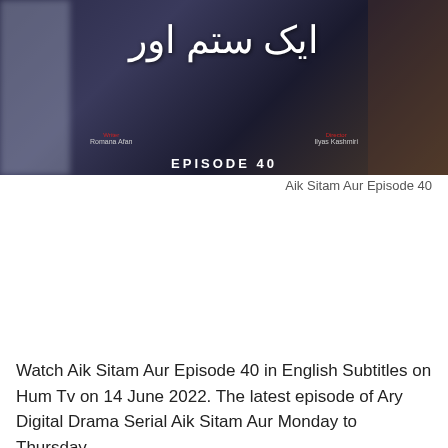[Figure (photo): Promotional banner for Pakistani TV drama 'Aik Sitam Aur' showing Episode 40 with Urdu title text, writer and director credits, and dramatic background with characters]
Aik Sitam Aur Episode 40
Watch Aik Sitam Aur Episode 40 in English Subtitles on Hum Tv on 14 June 2022. The latest episode of Ary Digital Drama Serial Aik Sitam Aur Monday to Thursday